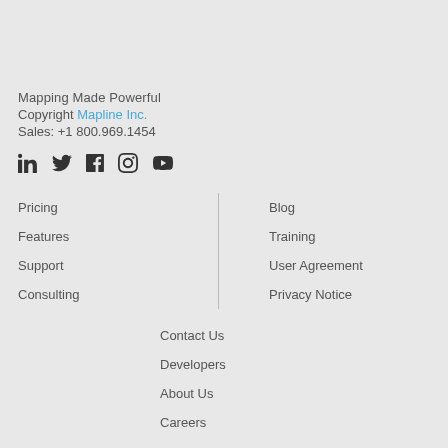Mapping Made Powerful
Copyright Mapline Inc.
Sales: +1 800.969.1454
[Figure (infographic): Social media icons: LinkedIn, Twitter, Facebook, Instagram, YouTube]
Pricing
Features
Support
Consulting
Blog
Training
User Agreement
Privacy Notice
Contact Us
Developers
About Us
Careers